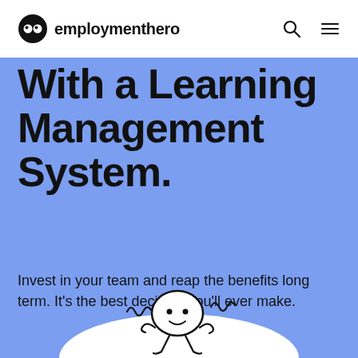employmenthero
With a Learning Management System.
Invest in your team and reap the benefits long term. It’s the best decision you’ll ever make.
[Figure (illustration): Cartoon illustration of a character, partially visible at the bottom of the blue section]